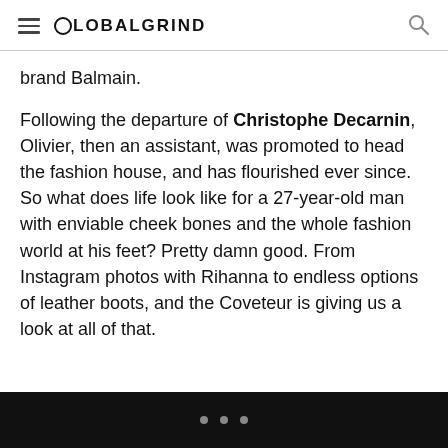GLOBALGRIND
brand Balmain.
Following the departure of Christophe Decarnin, Olivier, then an assistant, was promoted to head the fashion house, and has flourished ever since. So what does life look like for a 27-year-old man with enviable cheek bones and the whole fashion world at his feet? Pretty damn good. From Instagram photos with Rihanna to endless options of leather boots, and the Coveteur is giving us a look at all of that.
• • •